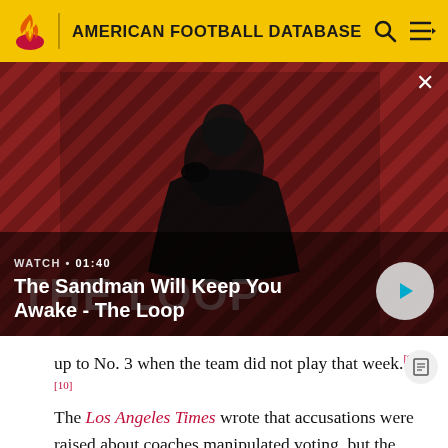AMERICAN FOOTBALL DATABASE
[Figure (screenshot): Video thumbnail showing a dark figure with a raven on shoulder against a red and black diagonal striped background. Overlay shows 'WATCH • 01:40' and title 'The Sandman Will Keep You Awake - The Loop' with a play button.]
WATCH • 01:40 — The Sandman Will Keep You Awake - The Loop
up to No. 3 when the team did not play that week.[9][10] The Los Angeles Times wrote that accusations were raised about coaches manipulated voting, but the individual coaches votes were not released to prove or disprove the allegations.[11] The AP Poll makes its voters'